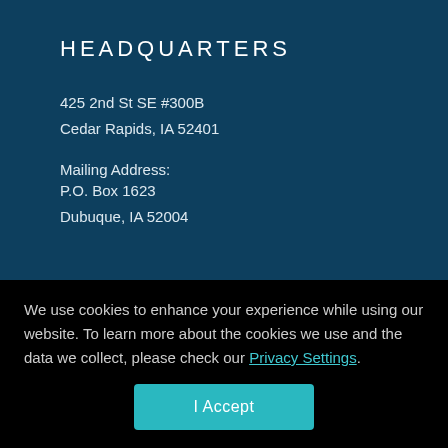HEADQUARTERS
425 2nd St SE #300B
Cedar Rapids, IA 52401
Mailing Address:
P.O. Box 1623
Dubuque, IA 52004
We use cookies to enhance your experience while using our website. To learn more about the cookies we use and the data we collect, please check our Privacy Settings.
I Accept